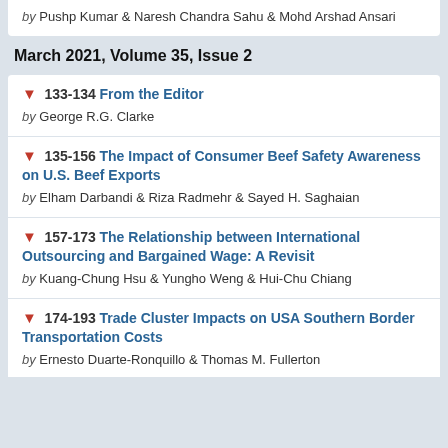by Pushp Kumar & Naresh Chandra Sahu & Mohd Arshad Ansari
March 2021, Volume 35, Issue 2
133-134 From the Editor by George R.G. Clarke
135-156 The Impact of Consumer Beef Safety Awareness on U.S. Beef Exports by Elham Darbandi & Riza Radmehr & Sayed H. Saghaian
157-173 The Relationship between International Outsourcing and Bargained Wage: A Revisit by Kuang-Chung Hsu & Yungho Weng & Hui-Chu Chiang
174-193 Trade Cluster Impacts on USA Southern Border Transportation Costs by Ernesto Duarte-Ronquillo & Thomas M. Fullerton